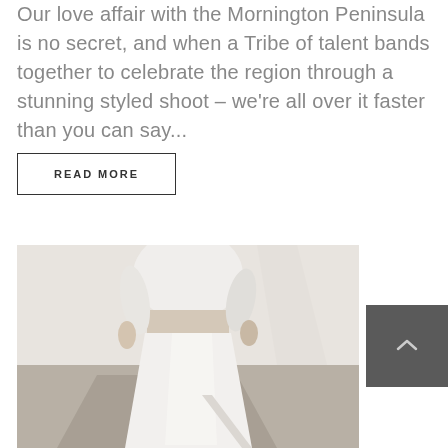Our love affair with the Mornington Peninsula is no secret, and when a Tribe of talent bands together to celebrate the region through a stunning styled shoot – we're all over it faster than you can say...
READ MORE
[Figure (photo): A person wearing a white satin/silk dress with a draped waist, photographed from mid-torso down, standing on what appears to be a concrete or stone surface with sunlight casting shadows.]